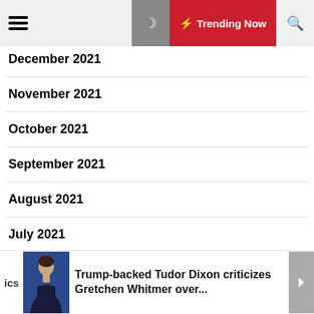Trending Now
December 2021
November 2021
October 2021
September 2021
August 2021
July 2021
June 2021
Trump-backed Tudor Dixon criticizes Gretchen Whitmer over...